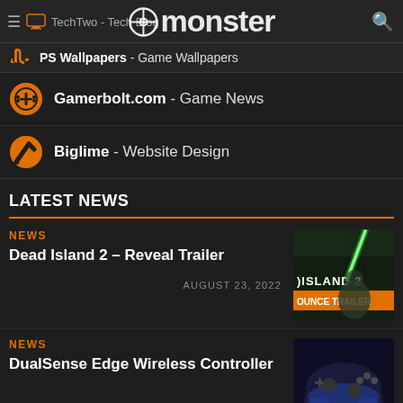TechTwo - Tech Blog | monster | PS Wallpapers - Game Wallpapers
Gamerbolt.com - Game News
Biglime - Website Design
LATEST NEWS
NEWS
Dead Island 2 – Reveal Trailer
AUGUST 23, 2022
[Figure (screenshot): Dead Island 2 Announce Trailer thumbnail with glowing green sword and zombie]
NEWS
DualSense Edge Wireless Controller
[Figure (screenshot): DualSense Edge Wireless Controller image with blue lighting]